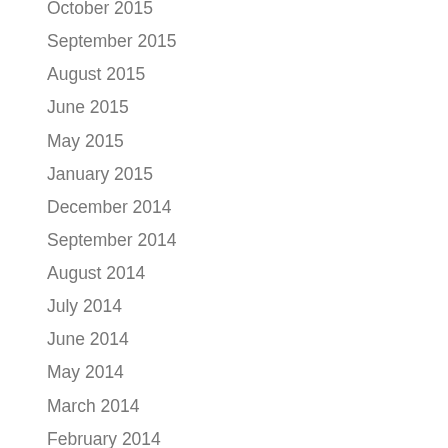October 2015
September 2015
August 2015
June 2015
May 2015
January 2015
December 2014
September 2014
August 2014
July 2014
June 2014
May 2014
March 2014
February 2014
January 2014
December 2013
November 2013